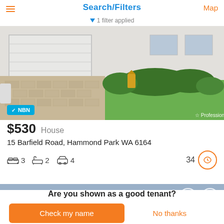Search/Filters
1 filter applied
[Figure (photo): Exterior photo of a house with garage door, brick driveway, green hedges, gold mailbox, and lawn. NBN badge visible at bottom left. Professionals logo at bottom right.]
$530  House
15 Barfield Road, Hammond Park WA 6164
3 bedrooms  2 bathrooms  4 car spaces  34 views
[Figure (photo): Partial photo of a second property listing showing sky background with dismiss and favourite icons.]
Are you shown as a good tenant?
Check my name
No thanks